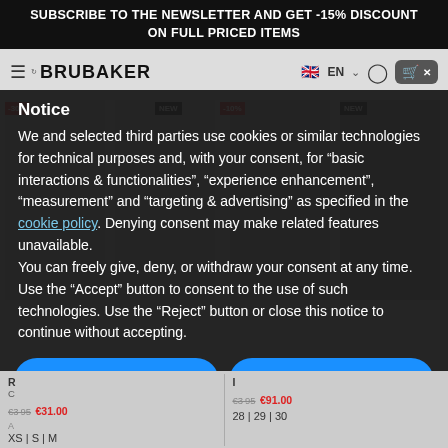SUBSCRIBE TO THE NEWSLETTER AND GET -15% DISCOUNT ON FULL PRICED ITEMS
[Figure (screenshot): BRUBAKER website navigation bar with hamburger menu, logo, EN language selector with UK flag, user icon, and cart icon]
Notice
We and selected third parties use cookies or similar technologies for technical purposes and, with your consent, for "basic interactions & functionalities", "experience enhancement", "measurement" and "targeting & advertising" as specified in the cookie policy. Denying consent may make related features unavailable.
You can freely give, deny, or withdraw your consent at any time.
Use the "Accept" button to consent to the use of such technologies. Use the "Reject" button or close this notice to continue without accepting.
Reject
Accept
Learn more and customize
XS | S | M
28 | 29 | 30